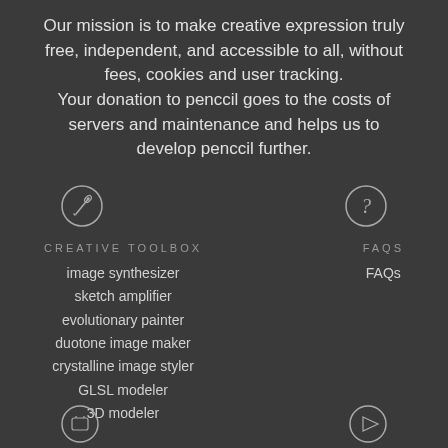Our mission is to make creative expression truly free, independent, and accessible to all, without fees, cookies and user tracking. Your donation to penccil goes to the costs of servers and maintenance and helps us to develop penccil further.
[Figure (illustration): Pencil/pen icon inside a circle (creative toolbox icon)]
[Figure (illustration): Question mark inside a circle (FAQs icon)]
CREATIVE TOOLBOX
image synthesizer
sketch amplifier
evolutionary painter
duotone image maker
crystalline image styler
GLSL modeler
3D modeler
FAQS
FAQs
[Figure (illustration): Bottom left icon inside a circle (partially visible)]
[Figure (illustration): Bottom right icon inside a circle (partially visible)]